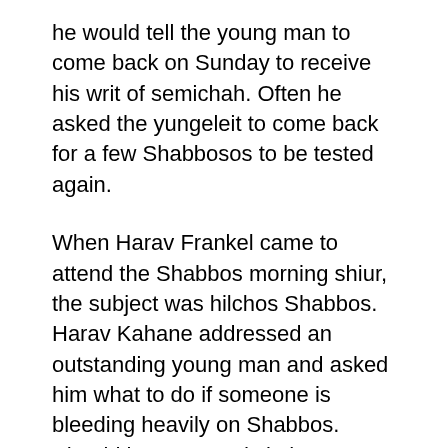he would tell the young man to come back on Sunday to receive his writ of semichah. Often he asked the yungeleit to come back for a few Shabbosos to be tested again.
When Harav Frankel came to attend the Shabbos morning shiur, the subject was hilchos Shabbos. Harav Kahane addressed an outstanding young man and asked him what to do if someone is bleeding heavily on Shabbos. Should he use a red cloth or a white cloth to stanch the bleeding?
The spontaneous answer, coming from someone who doesn't know the halacha, is to use the red cloth, because if he uses the white cloth, he will color it red with the blood. Someone familiar with siman 320 in the Shulchan Aruch, however, knows that the Magen Avraham ruled it is better to use the white cloth, explaining that the blood dirties it, which is not considered coloring. On the